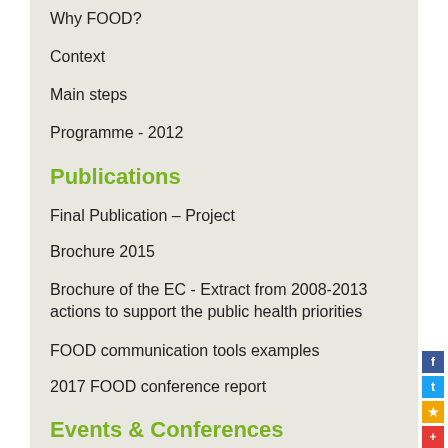Why FOOD?
Context
Main steps
Programme - 2012
Publications
Final Publication – Project
Brochure 2015
Brochure of the EC - Extract from 2008-2013 actions to support the public health priorities
FOOD communication tools examples
2017 FOOD conference report
Events & Conferences
Road Show
France
Belgium
Sweden
Czech Republic
Italy